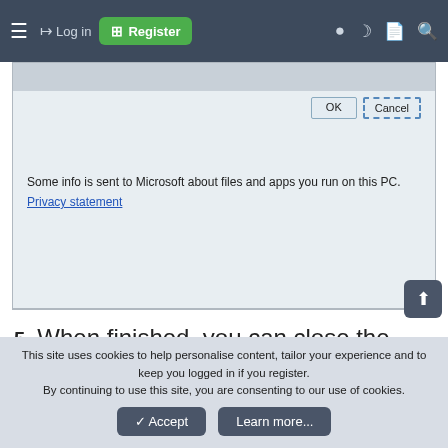Log in | Register
[Figure (screenshot): Screenshot of EightForums.com dialog with OK and Cancel buttons, privacy statement, and text: 'Some info is sent to Microsoft about files and apps you run on this PC. Privacy statement']
5. When finished, you can close the Action Center if you like.
This site uses cookies to help personalise content, tailor your experience and to keep you logged in if you register. By continuing to use this site, you are consenting to our use of cookies.